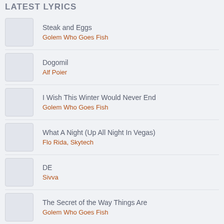LATEST LYRICS
Steak and Eggs
Golem Who Goes Fish
Dogomil
Alf Poier
I Wish This Winter Would Never End
Golem Who Goes Fish
What A Night (Up All Night In Vegas)
Flo Rida, Skytech
DE
Sivva
The Secret of the Way Things Are
Golem Who Goes Fish
Miami Vice
Glizzi
Trois Vierges (Live At Paradiso)